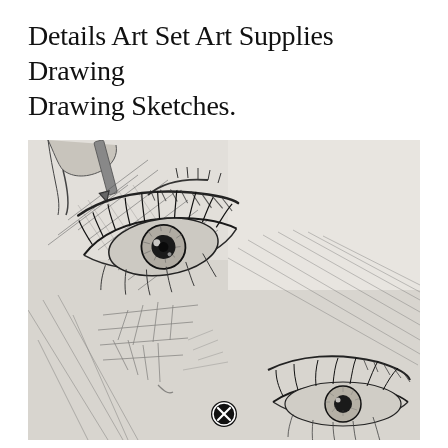Details Art Set Art Supplies Drawing Drawing Sketches.
[Figure (illustration): A detailed pencil sketch showing close-up views of human eyes being drawn, with visible pencil strokes, hatching, and an eye being sketched by a hand holding a pencil at the top. A second eye is visible in the lower right. A small circular close button icon appears at the bottom center.]